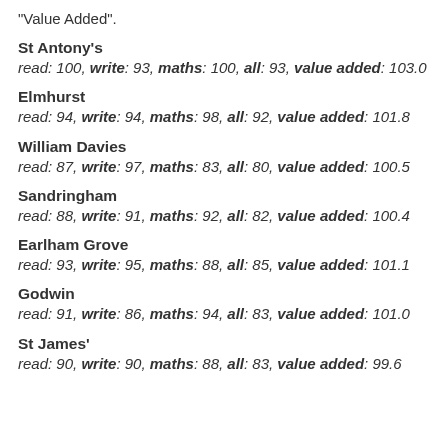"Value Added".
St Antony's read: 100, write: 93, maths: 100, all: 93, value added: 103.0
Elmhurst read: 94, write: 94, maths: 98, all: 92, value added: 101.8
William Davies read: 87, write: 97, maths: 83, all: 80, value added: 100.5
Sandringham read: 88, write: 91, maths: 92, all: 82, value added: 100.4
Earlham Grove read: 93, write: 95, maths: 88, all: 85, value added: 101.1
Godwin read: 91, write: 86, maths: 94, all: 83, value added: 101.0
St James' read: 90, write: 90, maths: 88, all: 83, value added: 99.6